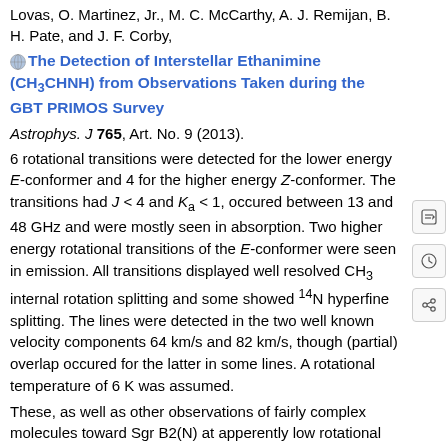Lovas, O. Martinez, Jr., M. C. McCarthy, A. J. Remijan, B. H. Pate, and J. F. Corby,
The Detection of Interstellar Ethanimine (CH3CHNH) from Observations Taken during the GBT PRIMOS Survey
Astrophys. J 765, Art. No. 9 (2013).
6 rotational transitions were detected for the lower energy E-conformer and 4 for the higher energy Z-conformer. The transitions had J < 4 and Ka < 1, occured between 13 and 48 GHz and were mostly seen in absorption. Two higher energy rotational transitions of the E-conformer were seen in emission. All transitions displayed well resolved CH3 internal rotation splitting and some showed 14N hyperfine splitting. The lines were detected in the two well known velocity components 64 km/s and 82 km/s, though (partial) overlap occured for the latter in some lines. A rotational temperature of 6 K was assumed.
These, as well as other observations of fairly complex molecules toward Sgr B2(N) at apperently low rotational temperatures, may be related to findings by M. A. Requena-Torres, J. Martín-Pintado, A. Rodríguez-Franco, S. Martín, N. J. Rodríguez-Fernández, and P. de Vicente.